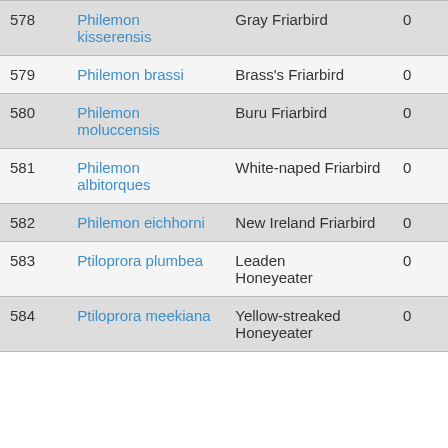|  | Scientific Name | Common Name | Count |
| --- | --- | --- | --- |
| 578 | Philemon kisserensis | Gray Friarbird | 0 |
| 579 | Philemon brassi | Brass's Friarbird | 0 |
| 580 | Philemon moluccensis | Buru Friarbird | 0 |
| 581 | Philemon albitorques | White-naped Friarbird | 0 |
| 582 | Philemon eichhorni | New Ireland Friarbird | 0 |
| 583 | Ptiloprora plumbea | Leaden Honeyeater | 0 |
| 584 | Ptiloprora meekiana | Yellow-streaked Honeyeater | 0 |